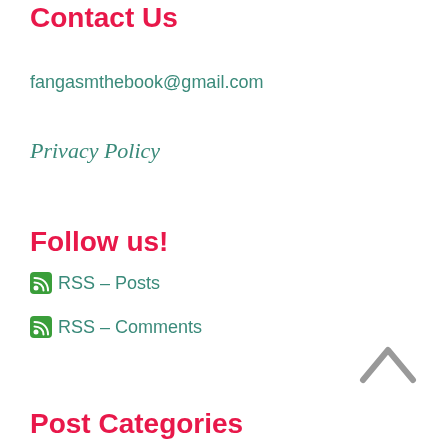Contact Us
fangasmthebook@gmail.com
Privacy Policy
Follow us!
RSS – Posts
RSS – Comments
Post Categories